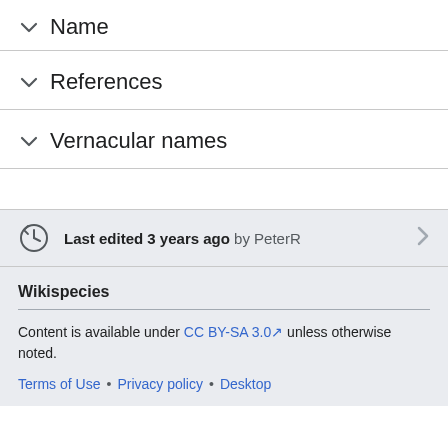∨ Name
∨ References
∨ Vernacular names
Last edited 3 years ago by PeterR
Wikispecies
Content is available under CC BY-SA 3.0 unless otherwise noted.
Terms of Use • Privacy policy • Desktop